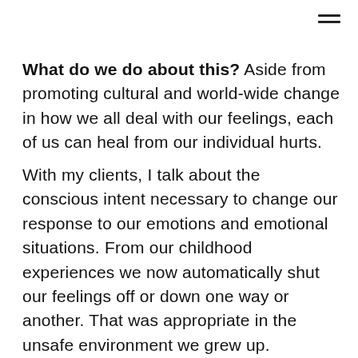[Figure (other): Hamburger menu icon (three horizontal lines) in top-right corner]
What do we do about this?  Aside from promoting cultural and world-wide change in how we all deal with our feelings, each of us can heal from our individual hurts.
With my clients, I talk about the conscious intent necessary to change our response to our emotions and emotional situations.  From our childhood experiences we now automatically shut our feelings off or down one way or another.  That was appropriate in the unsafe environment we grew up.  However, we grew out of that world.  We are no longer a child and we are not dependent on parents/care-givers that